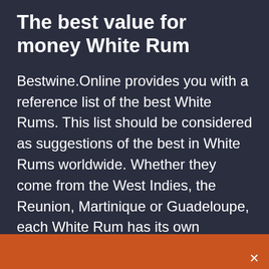The best value for money White Rum
Bestwine.Online provides you with a reference list of the best White Rums. This list should be considered as suggestions of the best in White Rums worldwide. Whether they come from the West Indies, the Reunion, Martinique or Guadeloupe, each White Rum has its own characteristics through its area of culture and its atypical methods of production. This reference list of the best White Rums is